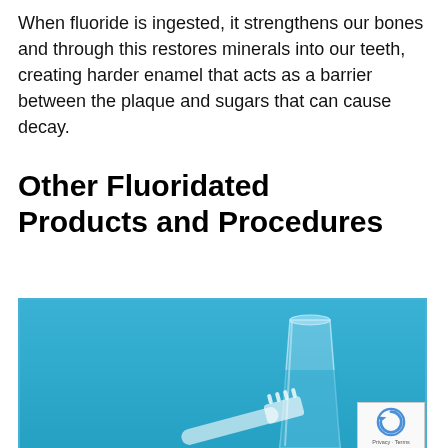When fluoride is ingested, it strengthens our bones and through this restores minerals into our teeth, creating harder enamel that acts as a barrier between the plaque and sugars that can cause decay.
Other Fluoridated Products and Procedures
[Figure (photo): Photo of a glass of water and a toothbrush on a blue background, partially visible at page bottom]